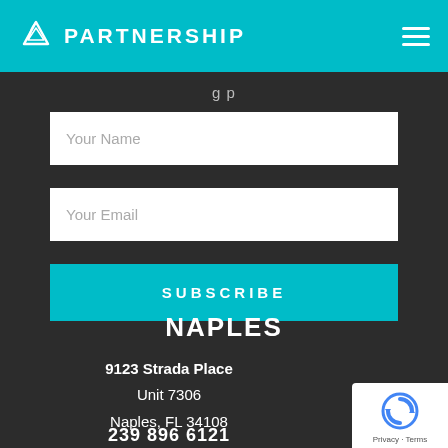[Figure (logo): Partnership logo with teal background, triangular icon and text PARTNERSHIP, plus hamburger menu icon on right]
g p
Your Name
Your Email
SUBSCRIBE
NAPLES
9123 Strada Place
Unit 7306
Naples, FL 34108
239 886 6121